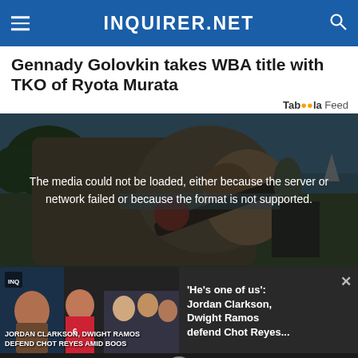INQUIRER.NET
Gennady Golovkin takes WBA title with TKO of Ryota Murata
Taboola Feed
[Figure (photo): A soldier in camouflage gear leaning forward close to the camera, with water and trees in the background. A media error overlay reads: The media could not be loaded, either because the server or network failed or because the format is not supported.]
[Figure (screenshot): Bottom strip showing a video thumbnail on the left with text 'JORDAN CLARKSON, DWIGHT RAMOS DEFEND CHOT REYES AMID BOOS' and on the right a card reading: 'He's one of us': Jordan Clarkson, Dwight Ramos defend Chot Reyes... with a close button.]